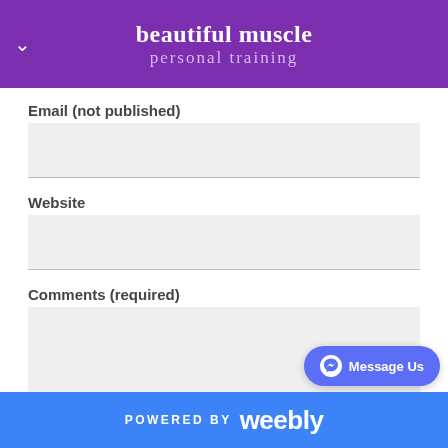beautiful muscle personal training
Email (not published)
Website
Comments (required)
[Figure (other): Message Us button with Facebook Messenger icon]
POWERED BY weebly